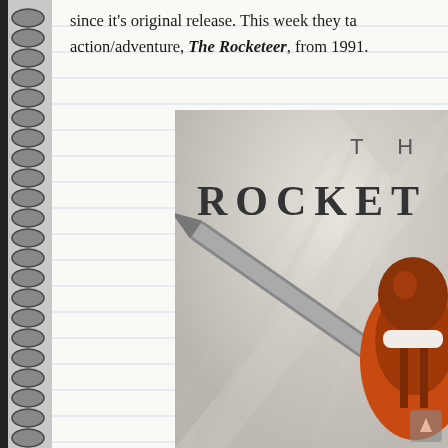since it's original release. This week they tackle action/adventure, The Rocketeer, from 1991.
[Figure (photo): Movie poster for The Rocketeer (1991) showing the stylized art deco title lettering 'THE ROCKETEER' and part of the Rocketeer character in orange/brown suit with helmet, plus a diagonal blade/rocket element against a grey background with radiating light rays.]